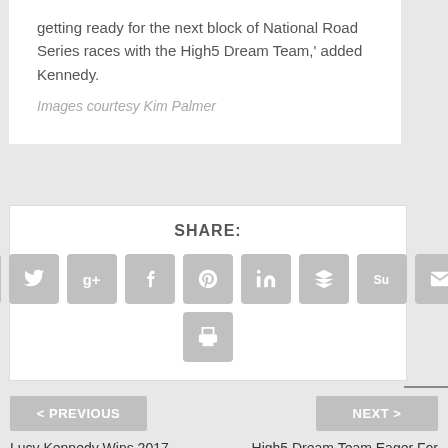getting ready for the next block of National Road Series races with the High5 Dream Team,' added Kennedy.
Images courtesy Kim Palmer
SHARE:
[Figure (infographic): Social media share buttons: Facebook, Twitter, Google+, Tumblr, Pinterest, LinkedIn, Buffer, StumbleUpon, Email, Print]
< PREVIOUS
NEXT >
Lucy Kennedy Wins 2017 Oceania Road
High5 Dream Team Eager For NRS Restart